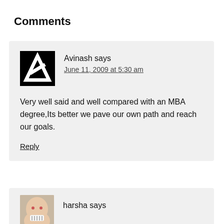Comments
[Figure (logo): Black square with white letter A logo — Avinash commenter avatar]
Avinash says
June 11, 2009 at 5:30 am
Very well said and well compared with an MBA degree,Its better we pave our own path and reach our goals.
Reply
[Figure (photo): Cartoon face with open mouth — harsha commenter avatar]
harsha says